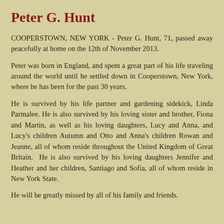Peter G. Hunt
COOPERSTOWN, NEW YORK - Peter G. Hunt, 71, passed away peacefully at home on the 12th of November 2013.
Peter was born in England, and spent a great part of his life traveling around the world until he settled down in Cooperstown, New York, where he has been for the past 30 years.
He is survived by his life partner and gardening sidekick, Linda Parmalee. He is also survived by his loving sister and brother, Fiona and Martin, as well as his loving daughters, Lucy and Anna, and Lucy's children Autumn and Otto and Anna's children Rowan and Jeanne, all of whom reside throughout the United Kingdom of Great Britain. He is also survived by his loving daughters Jennifer and Heather and her children, Santiago and Sofia, all of whom reside in New York State.
He will be greatly missed by all of his family and friends.